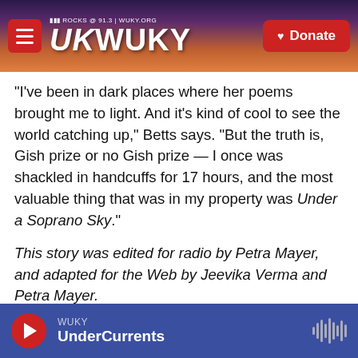WUKY NPR ROCKS @ 91.3 | WUKY.ORG — Donate
"I've been in dark places where her poems brought me to light. And it's kind of cool to see the world catching up," Betts says. "But the truth is, Gish prize or no Gish prize — I once was shackled in handcuffs for 17 hours, and the most valuable thing that was in my property was Under a Soprano Sky."
This story was edited for radio by Petra Mayer, and adapted for the Web by Jeevika Verma and Petra Mayer.
Copyright 2021 NPR. To see more, visit https://www.npr.org.
WUKY — UnderCurrents